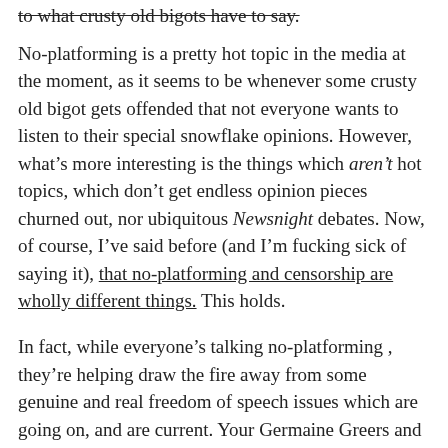to what crusty old bigots have to say. [strikethrough]
No-platforming is a pretty hot topic in the media at the moment, as it seems to be whenever some crusty old bigot gets offended that not everyone wants to listen to their special snowflake opinions. However, what’s more interesting is the things which aren’t hot topics, which don’t get endless opinion pieces churned out, nor ubiquitous Newsnight debates. Now, of course, I’ve said before (and I’m fucking sick of saying it), that no-platforming and censorship are wholly different things. This holds.
In fact, while everyone’s talking no-platforming , they’re helping draw the fire away from some genuine and real freedom of speech issues which are going on, and are current. Your Germaine Greers and Peter Tatchells and Julie Bindels are helping the government get away with instances of censorship and suppressing free speech by simply banging on about their hurt feelings and making that the big